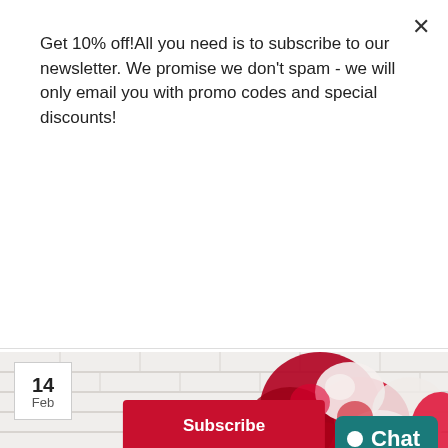Get 10% off!All you need is to subscribe to our newsletter. We promise we don't spam - we will only email you with promo codes and special discounts!
Subscribe
does not see this!
Brandon / Forwarde
WhatsApp us
Blog
[Figure (photo): Heart-shaped arrangement of red and white roses on a white brick background, with a date badge showing 14 Feb and a teal Chat button]
14 Feb